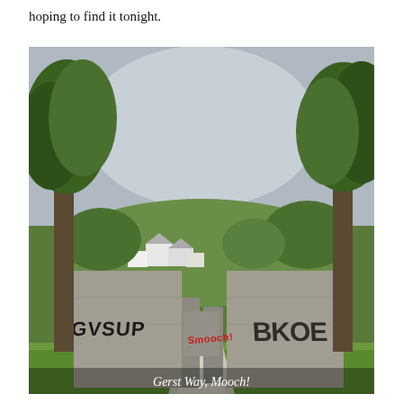hoping to find it tonight.
[Figure (photo): Outdoor scene showing a concrete gate/entrance with graffiti on the walls. Left wall has 'GVSUP' graffiti in black, center gate has 'Smooch!' in red graffiti, right wall has large black graffiti lettering. Trees flank both sides, green hillside with houses visible in the background. A concrete path leads through the gate. Grass is visible at the bottom. A caption reads 'Gerst Way, Mooch!' in white italic text at the bottom of the image.]
Gerst Way, Mooch!